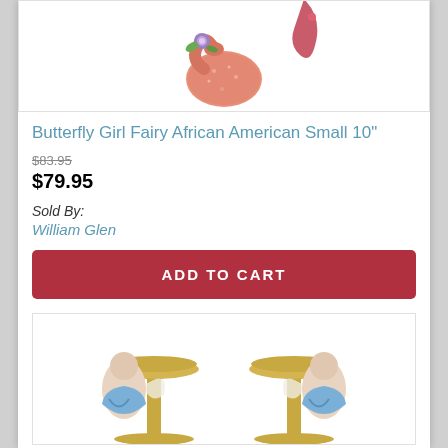[Figure (photo): Butterfly Girl Fairy African American figurine product image, pink sparkly mermaid-like creature with a purple flower, shown from above]
Butterfly Girl Fairy African American Small 10"
$83.95 (strikethrough original price)
$79.95
Sold By:
William Glen
ADD TO CART
[Figure (photo): Two golden candelabra or trophy-like stands with cherub/angel figurines in white and blue, partially visible at bottom of page]